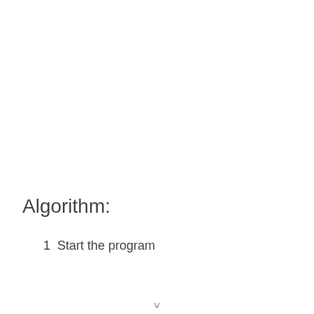Algorithm:
1  Start the program
v